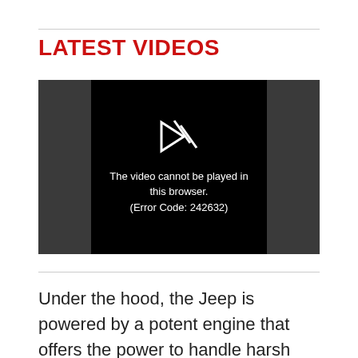LATEST VIDEOS
[Figure (screenshot): Video player showing error message: 'The video cannot be played in this browser. (Error Code: 242632)']
Under the hood, the Jeep is powered by a potent engine that offers the power to handle harsh terrains and off-road conditions.